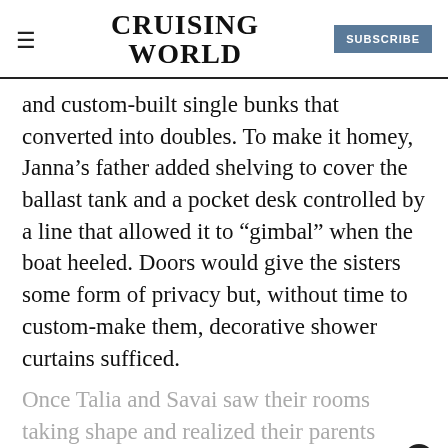CRUISING WORLD | SUBSCRIBE
and custom-built single bunks that converted into doubles. To make it homey, Janna's father added shelving to cover the ballast tank and a pocket desk controlled by a line that allowed it to “gimbal” when the boat heeled. Doors would give the sisters some form of privacy but, without time to custom-make them, decorative shower curtains sufficed.
Once Talia and Savai saw their rooms taking shape and realized their parents were truly committed to this adventure,